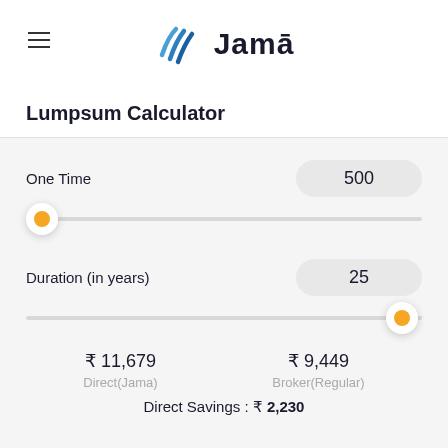[Figure (logo): Jama logo with stylized blue waves icon and 'Jama' text in dark navy]
Lumpsum Calculator
One Time  500
Duration (in years)  25
₹ 11,679
Direct(Jama)
₹ 9,449
Broker(Regular)
Direct Savings : ₹ 2,230